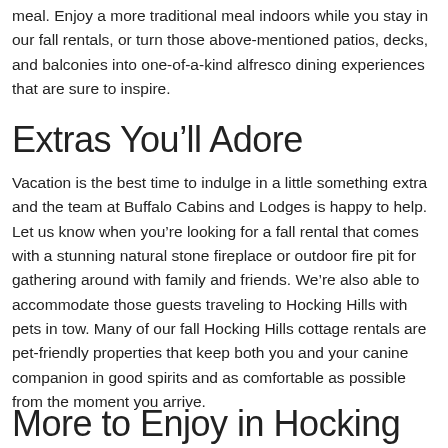meal. Enjoy a more traditional meal indoors while you stay in our fall rentals, or turn those above-mentioned patios, decks, and balconies into one-of-a-kind alfresco dining experiences that are sure to inspire.
Extras You’ll Adore
Vacation is the best time to indulge in a little something extra and the team at Buffalo Cabins and Lodges is happy to help. Let us know when you’re looking for a fall rental that comes with a stunning natural stone fireplace or outdoor fire pit for gathering around with family and friends. We’re also able to accommodate those guests traveling to Hocking Hills with pets in tow. Many of our fall Hocking Hills cottage rentals are pet-friendly properties that keep both you and your canine companion in good spirits and as comfortable as possible from the moment you arrive.
More to Enjoy in Hocking Hills